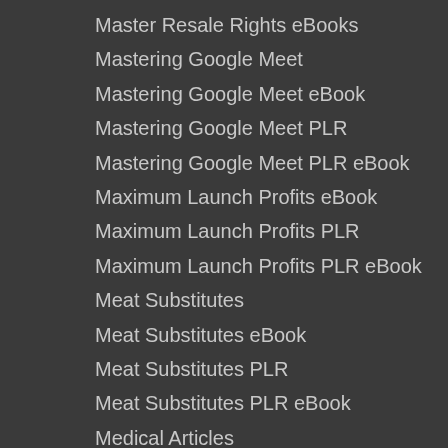Master Resale Rights eBooks
Mastering Google Meet
Mastering Google Meet eBook
Mastering Google Meet PLR
Mastering Google Meet PLR eBook
Maximum Launch Profits eBook
Maximum Launch Profits PLR
Maximum Launch Profits PLR eBook
Meat Substitutes
Meat Substitutes eBook
Meat Substitutes PLR
Meat Substitutes PLR eBook
Medical Articles
Medical PLR
Medical PLR Articles
Membership Website PLR